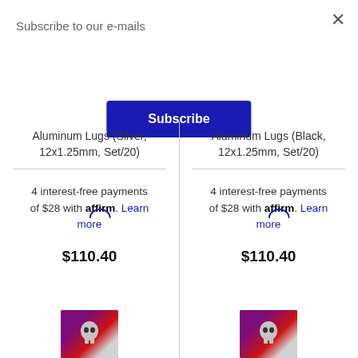Subscribe to our e-mails
X
Subscribe
Aluminum Lugs (Silver, 12x1.25mm, Set/20)
Aluminum Lugs (Black, 12x1.25mm, Set/20)
4 interest-free payments of $28 with affirm. Learn more
4 interest-free payments of $28 with affirm. Learn more
$110.40
$110.40
[Figure (photo): Product thumbnail image - appears to show a dark product with skull graphic]
[Figure (photo): Product thumbnail image - appears to show a dark product with skull graphic]